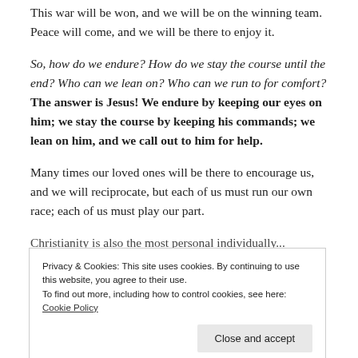This war will be won, and we will be on the winning team. Peace will come, and we will be there to enjoy it.
So, how do we endure? How do we stay the course until the end? Who can we lean on? Who can we run to for comfort? The answer is Jesus! We endure by keeping our eyes on him; we stay the course by keeping his commands; we lean on him, and we call out to him for help.
Many times our loved ones will be there to encourage us, and we will reciprocate, but each of us must run our own race; each of us must play our part.
Christianity is also the most personal individually...
Privacy & Cookies: This site uses cookies. By continuing to use this website, you agree to their use.
To find out more, including how to control cookies, see here: Cookie Policy
except for maybe Our Father! And so, "We love